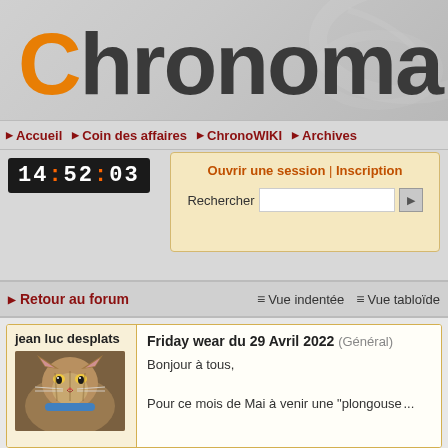[Figure (screenshot): Website header banner with 'Chronoma' logo in dark grey with orange 'C', on a grey textured background with decorative swirl]
▶ Accueil ▶ Coin des affaires ▶ ChronoWIKI ▶ Archives
14:52:03
Ouvrir une session | Inscription
Rechercher [input field]
▶ Retour au forum   ≡ Vue indentée  ≡ Vue tabloïde
jean luc desplats
[Figure (photo): Avatar photo of a tabby cat]
Friday wear du 29 Avril 2022 (Général)
Bonjour à tous,
Pour ce mois de Mai à venir une "plongouse"...